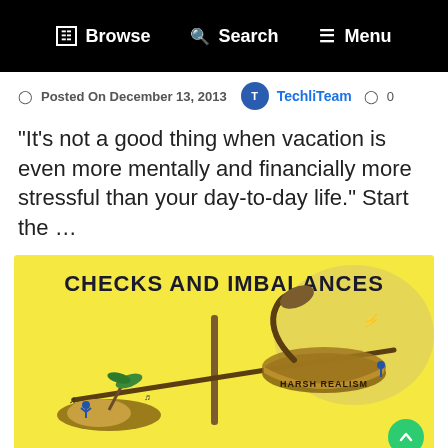Browse  Search  Menu
Posted On December 13, 2013  TechliTeam  0
“It’s not a good thing when vacation is even more mentally and financially more stressful than your day-to-day life.” Start the …
[Figure (illustration): Cartoon illustration titled 'CHECKS AND IMBALANCES' showing a balance scale. One side has a small island with people celebrating under a palm tree (vacation/dreams), the other side has a bowl labeled 'HARSH REALISM' being weighed down. Yellow background.]